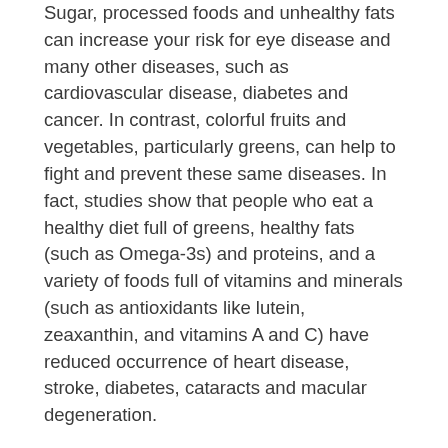Sugar, processed foods and unhealthy fats can increase your risk for eye disease and many other diseases, such as cardiovascular disease, diabetes and cancer. In contrast, colorful fruits and vegetables, particularly greens, can help to fight and prevent these same diseases. In fact, studies show that people who eat a healthy diet full of greens, healthy fats (such as Omega-3s) and proteins, and a variety of foods full of vitamins and minerals (such as antioxidants like lutein, zeaxanthin, and vitamins A and C) have reduced occurrence of heart disease, stroke, diabetes, cataracts and macular degeneration.
Try to eat a diet of at least 5-9 servings a day of fruits and vegetables rich and varied in natural color to get the most nutrients. Reduce your intake of sugar, refined grains (such as white bread and pasta) and processed foods and drinks. Eat mostly whole grains and real, natural foods as much as possible and drink plenty of water.
Ultraviolet (UV) and Blue Light Exposure
More and more studies are showing that extended exposure to UV and blue light emissions correlate to increased incidences of eye diseases such as cataracts and macular degeneration. To